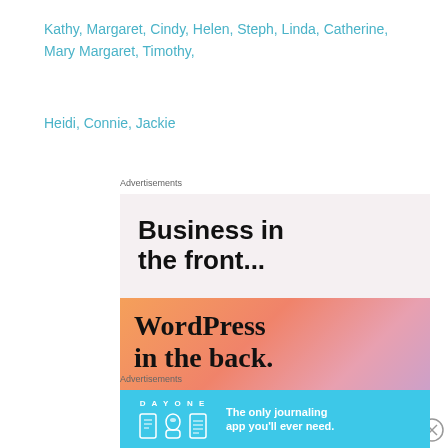Kathy, Margaret, Cindy, Helen, Steph, Linda, Catherine, Mary Margaret, Timothy,
Heidi, Connie, Jackie
Advertisements
[Figure (illustration): WordPress advertisement: 'Business in the front... WordPress in the back.' with Learn more button and WP VIP logo on gradient orange/pink background]
Advertisements
[Figure (illustration): Day One journaling app advertisement: 'The only journaling app you'll ever need.' on blue background with app icons]